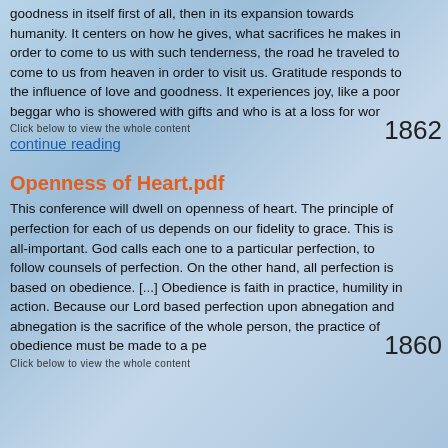goodness in itself first of all, then in its expansion towards humanity. It centers on how he gives, what sacrifices he makes in order to come to us with such tenderness, the road he traveled to come to us from heaven in order to visit us. Gratitude responds to the influence of love and goodness. It experiences joy, like a poor beggar who is showered with gifts and who is at a loss for wor
1862
Click below to view the whole content
continue reading
Openness of Heart.pdf
This conference will dwell on openness of heart. The principle of perfection for each of us depends on our fidelity to grace. This is all-important. God calls each one to a particular perfection, to follow counsels of perfection. On the other hand, all perfection is based on obedience. [...] Obedience is faith in practice, humility in action. Because our Lord based perfection upon abnegation and abnegation is the sacrifice of the whole person, the practice of obedience must be made to a pe
1860
Click below to view the whole content